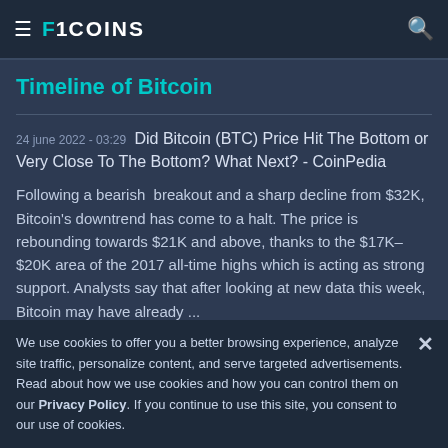F1coins
Timeline of Bitcoin
24 june 2022 - 03:29   Did Bitcoin (BTC) Price Hit The Bottom or Very Close To The Bottom? What Next? - CoinPedia
Following a bearish  breakout and a sharp decline from $32K, Bitcoin's downtrend has come to a halt. The price is rebounding towards $21K and above, thanks to the $17K–$20K area of the 2017 all-time highs which is acting as strong support. Analysts say that after looking at new data this week, Bitcoin may have already ...
We use cookies to offer you a better browsing experience, analyze site traffic, personalize content, and serve targeted advertisements. Read about how we use cookies and how you can control them on our Privacy Policy. If you continue to use this site, you consent to our use of cookies.
On Wednesday (June 22), Max Raskin, Adjunct Professor of Law